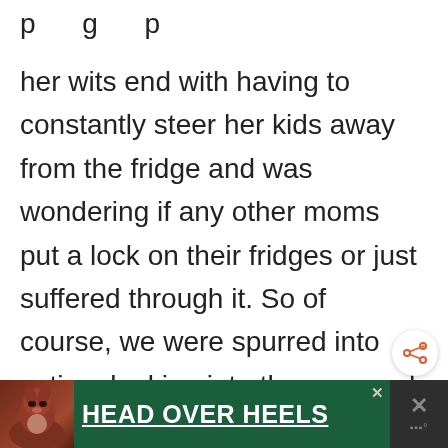p g p her wits end with having to constantly steer her kids away from the fridge and was wondering if any other moms put a lock on their fridges or just suffered through it. So of course, we were spurred into action, looking into the pros and cons to help YOU decide whether you should put a lock on YOUR
[Figure (other): Share button — circular white button with orange share/network icon and plus sign, positioned on right side of page]
[Figure (other): Advertisement banner at bottom: dark green background with dog photo on left, bold white underlined text 'HEAD OVER HEELS', close X button top right, dark right panel with X and menu dots icons]